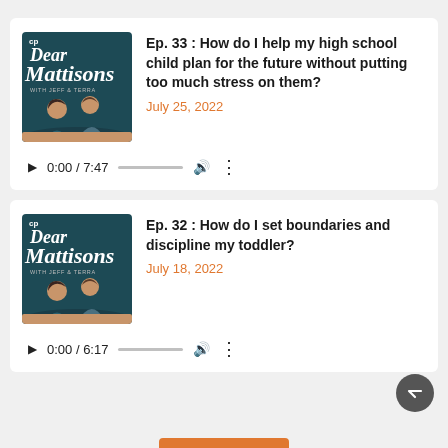[Figure (screenshot): Podcast episode card 1: Dear Mattisons podcast thumbnail with hosts Jeff and Terra on teal background, episode title, date, and audio player controls showing 0:00 / 7:47]
Ep. 33 : How do I help my high school child plan for the future without putting too much stress on them?
July 25, 2022
[Figure (screenshot): Podcast episode card 2: Dear Mattisons podcast thumbnail with hosts Jeff and Terra on teal background, episode title, date, and audio player controls showing 0:00 / 6:17]
Ep. 32 : How do I set boundaries and discipline my toddler?
July 18, 2022